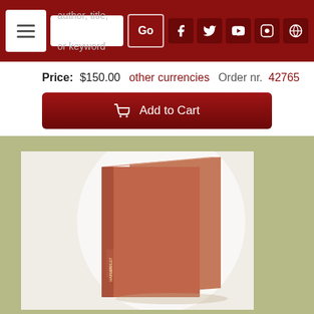[Figure (screenshot): Website navigation bar with hamburger menu, search box with placeholder 'author, title, or keyword', Go button, and social media icons (Facebook, Twitter, YouTube, Instagram, WordPress) on dark red background]
Price: $150.00  other currencies  Order nr. 42765
Add to Cart
[Figure (photo): A red/terracotta colored hardcover book standing upright, showing its spine and front cover against a white/light background, with text on the lower spine area. Set within an olive/sage green background.]